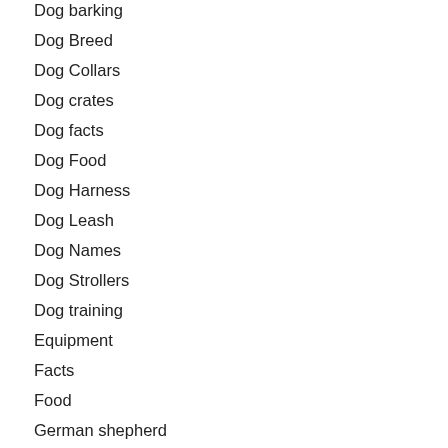Dog barking
Dog Breed
Dog Collars
Dog crates
Dog facts
Dog Food
Dog Harness
Dog Leash
Dog Names
Dog Strollers
Dog training
Equipment
Facts
Food
German shepherd